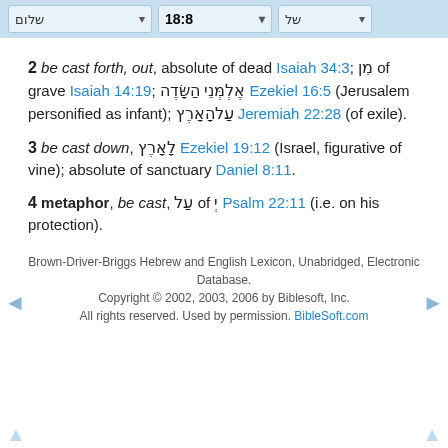18:8
2 be cast forth, out, absolute of dead Isaiah 34:3; מִן of grave Isaiah 14:19; אֶלְמְּנֵי הַשָּׂדֶה Ezekiel 16:5 (Jerusalem personified as infant); עַלהָאָרֶץ Jeremiah 22:28 (of exile).
3 be cast down, לָאָרֶץ Ezekiel 19:12 (Israel, figurative of vine); absolute of sanctuary Daniel 8:11.
4 metaphor, be cast, עַל of יְ Psalm 22:11 (i.e. on his protection).
Brown-Driver-Briggs Hebrew and English Lexicon, Unabridged, Electronic Database. Copyright © 2002, 2003, 2006 by Biblesoft, Inc. All rights reserved. Used by permission. BibleSoft.com